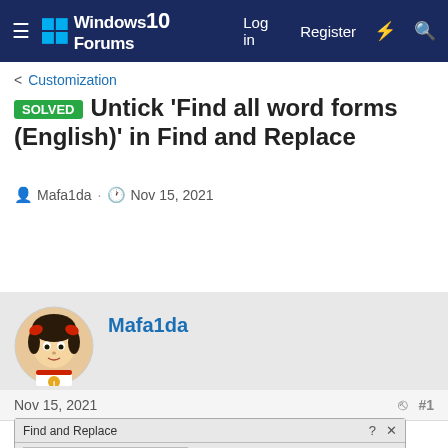Windows 10 Forums — Log in  Register
< Customization
SOLVED Untick 'Find all word forms (English)' in Find and Replace
Mafa1da · Nov 15, 2021
Mafa1da
Nov 15, 2021  #1
[Figure (screenshot): Partial screenshot of Microsoft Word Find and Replace dialog box showing tabs: Find, Replace, Go To]